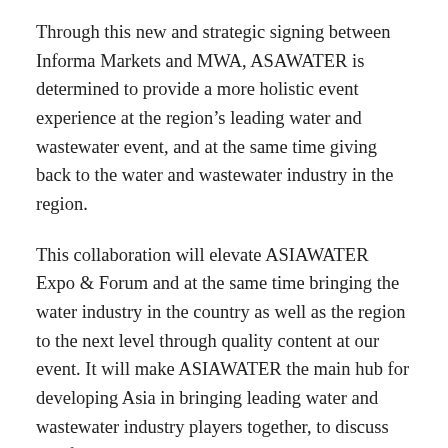Through this new and strategic signing between Informa Markets and MWA, ASAWATER is determined to provide a more holistic event experience at the region's leading water and wastewater event, and at the same time giving back to the water and wastewater industry in the region.
This collaboration will elevate ASIAWATER Expo & Forum and at the same time bringing the water industry in the country as well as the region to the next level through quality content at our event. It will make ASIAWATER the main hub for developing Asia in bringing leading water and wastewater industry players together, to discuss and find solutions, and at the same time elevating the region's water industry to the next level.
State-of-the art water technology as well as sharing of industry solutions and best practices are some of the highlights at this year's event. With over 2,000 local and international brands to